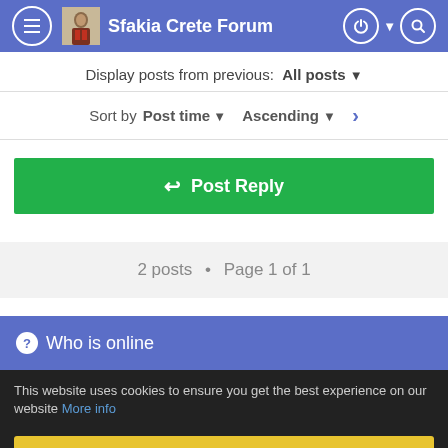Sfakia Crete Forum
Display posts from previous: All posts
Sort by Post time Ascending >
↩ Post Reply
2 posts • Page 1 of 1
❓ Who is online
This website uses cookies to ensure you get the best experience on our website More info
OK